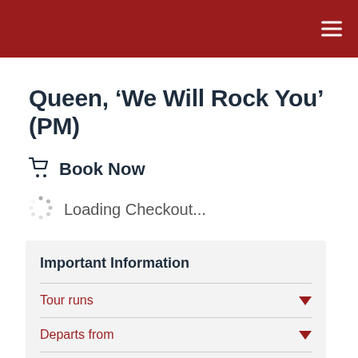Queen, ‘We Will Rock You’ (PM)
🛒 Book Now
Loading Checkout...
Important Information
Tour runs
Departs from
Nearest Underground Station